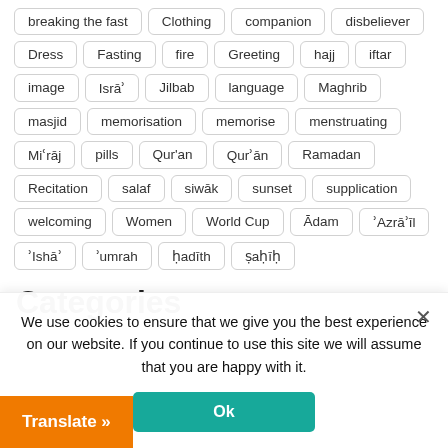breaking the fast | Clothing | companion | disbeliever | Dress | Fasting | fire | Greeting | hajj | iftar | image | Isrāʾ | Jilbab | language | Maghrib | masjid | memorisation | memorise | menstruating | Miʿrāj | pills | Qur'an | Qurʾān | Ramadan | Recitation | salaf | siwāk | sunset | supplication | welcoming | Women | World Cup | Ādam | ʾAzrāʾīl | ʾIshāʾ | ʾumrah | ḥadīth | ṣaḥīḥ
Categories
We use cookies to ensure that we give you the best experience on our website. If you continue to use this site we will assume that you are happy with it.